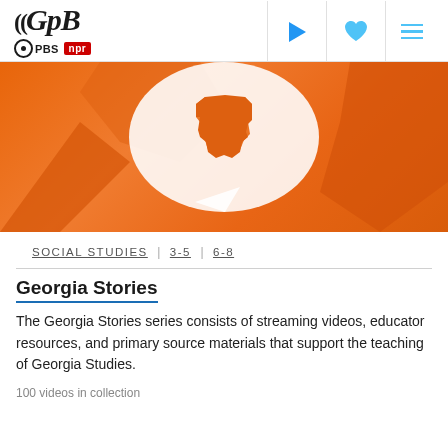[Figure (logo): GPB logo with PBS and NPR sub-logos and navigation icons (play, heart, menu)]
[Figure (photo): Orange hero banner image with a speech bubble containing the outline of the state of Georgia]
SOCIAL STUDIES | 3-5 | 6-8
Georgia Stories
The Georgia Stories series consists of streaming videos, educator resources, and primary source materials that support the teaching of Georgia Studies.
100 videos in collection